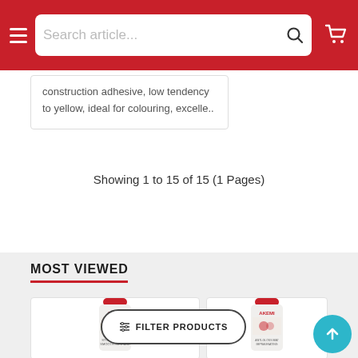Search article...
construction adhesive, low tendency to yellow, ideal for colouring, excelle..
Showing 1 to 15 of 15 (1 Pages)
MOST VIEWED
[Figure (photo): AKEMI product bottle - stone cleaner]
[Figure (photo): AKEMI product bottle - anti-gloss and tear-resistant mat impregnating]
FILTER PRODUCTS